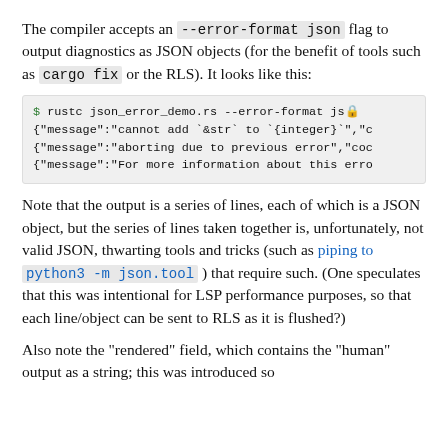The compiler accepts an --error-format json flag to output diagnostics as JSON objects (for the benefit of tools such as cargo fix or the RLS). It looks like this:
[Figure (screenshot): Terminal code block showing: $ rustc json_error_demo.rs --error-format json followed by three JSON message lines (truncated): {"message":"cannot add `&str` to `{integer}`","c... {"message":"aborting due to previous error","coc... {"message":"For more information about this erro...]
Note that the output is a series of lines, each of which is a JSON object, but the series of lines taken together is, unfortunately, not valid JSON, thwarting tools and tricks (such as piping to python3 -m json.tool ) that require such. (One speculates that this was intentional for LSP performance purposes, so that each line/object can be sent to RLS as it is flushed?)
Also note the "rendered" field, which contains the "human" output as a string; this was introduced so...